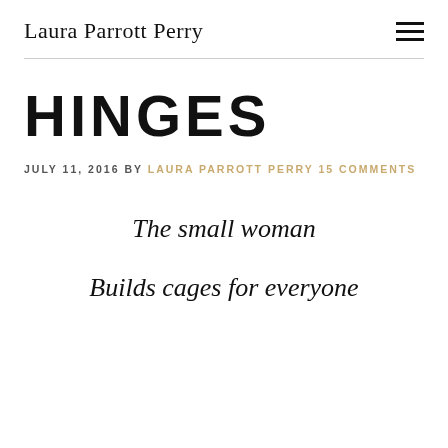Laura Parrott Perry
HINGES
JULY 11, 2016 BY LAURA PARROTT PERRY 15 COMMENTS
The small woman
Builds cages for everyone